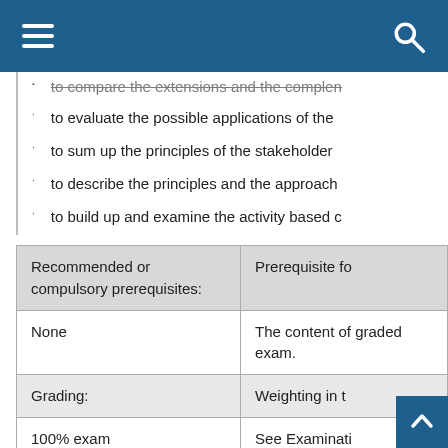Navigation header with hamburger menu and search icon
to compare the extensions and the complemen...
to evaluate the possible applications of the
to sum up the principles of the stakeholder
to describe the principles and the approach
to build up and examine the activity based c
| Recommended or compulsory prerequisites: | Prerequisite fo... |
| --- | --- |
| None | The content of graded exam. |
| Grading: | Weighting in t... |
| 100% exam | See Examinati... |